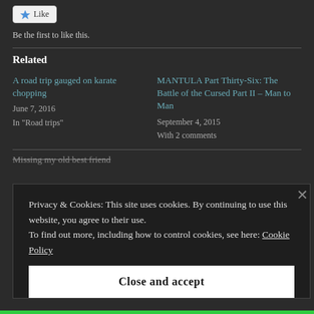[Figure (other): Like button with star icon]
Be the first to like this.
Related
A road trip gauged on karate chopping
June 7, 2016
In "Road trips"
MANTULA Part Thirty-Six: The Battle of the Cursed Part II – Man to Man
September 4, 2015
With 2 comments
Missing my old best friend
Privacy & Cookies: This site uses cookies. By continuing to use this website, you agree to their use. To find out more, including how to control cookies, see here: Cookie Policy
Close and accept